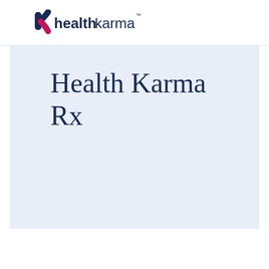[Figure (logo): Health Karma logo with stylized K icon in dark navy and pink, followed by bold 'health' and regular 'karma' text in dark navy, with TM superscript]
Health Karma Rx